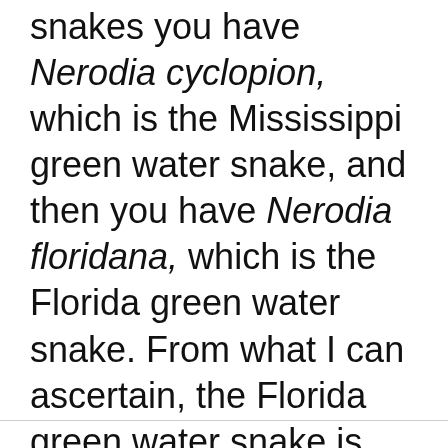snakes you have Nerodia cyclopion, which is the Mississippi green water snake, and then you have Nerodia floridana, which is the Florida green water snake. From what I can ascertain, the Florida green water snake is not present or very uncommon in Alabama.